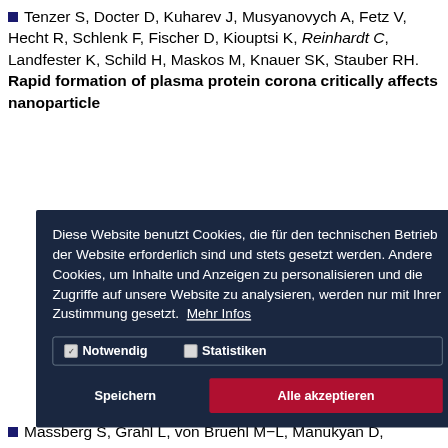Tenzer S, Docter D, Kuharev J, Musyanovych A, Fetz V, Hecht R, Schlenk F, Fischer D, Kiouptsi K, Reinhardt C, Landfester K, Schild H, Maskos M, Knauer SK, Stauber RH. Rapid formation of plasma protein corona critically affects nanoparticle
[Figure (screenshot): Cookie consent dialog overlay with dark navy background. German text explaining cookie usage. Two checkboxes: 'Notwendig' (checked) and 'Statistiken' (unchecked). Buttons: 'Speichern' (save) and 'Alle akzeptieren' (accept all, red). Link 'Mehr Infos'.]
Massberg S, Grahl L, von Bruehl M−L, Manukyan D,